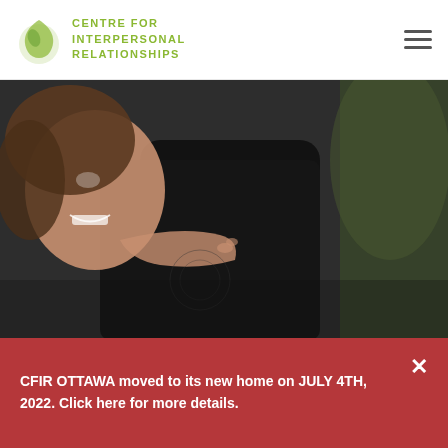CENTRE FOR INTERPERSONAL RELATIONSHIPS
[Figure (photo): A child laughing and hugging an adult wearing a dark shirt, outdoor setting]
The Challenges of Parenting
CFIR OTTAWA moved to its new home on JULY 4TH, 2022. Click here for more details.